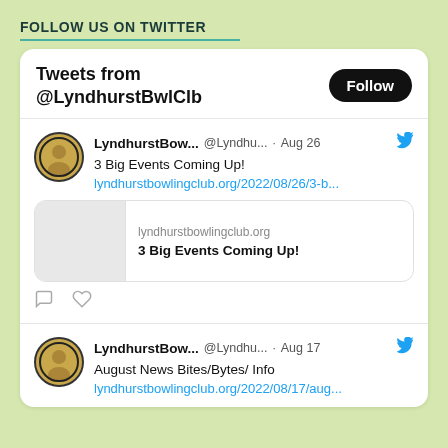FOLLOW US ON TWITTER
[Figure (screenshot): Twitter widget showing tweets from @LyndhurstBwlClb. First tweet: LyndhurstBow... @Lyndhu... · Aug 26 — '3 Big Events Coming Up!' with link lyndhurstbowlingclub.org/2022/08/26/3-b... and a link preview card showing lyndhurstbowlingclub.org / 3 Big Events Coming Up!. Second tweet: LyndhurstBow... @Lyndhu... · Aug 17 — 'August News Bites/Bytes/ Info' with link lyndhurstbowlingclub.org/2022/08/17/aug...]